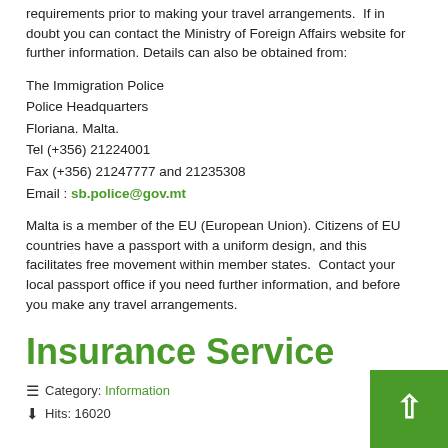requirements prior to making your travel arrangements.  If in doubt you can contact the Ministry of Foreign Affairs website for further information. Details can also be obtained from:
The Immigration Police
Police Headquarters
Floriana. Malta.
Tel (+356) 21224001
Fax (+356) 21247777 and 21235308
Email : sb.police@gov.mt
Malta is a member of the EU (European Union). Citizens of EU countries have a passport with a uniform design, and this facilitates free movement within member states.  Contact your local passport office if you need further information, and before you make any travel arrangements.
Insurance Service
Category: Information
Hits: 16020